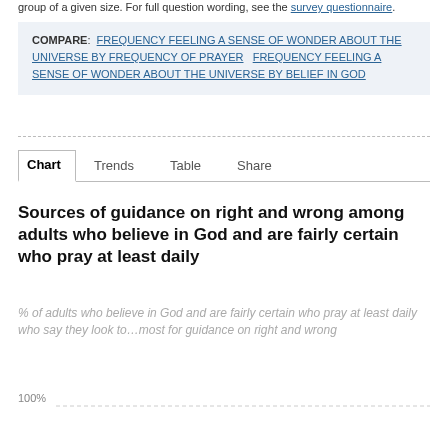group of a given size. For full question wording, see the survey questionnaire.
COMPARE: FREQUENCY FEELING A SENSE OF WONDER ABOUT THE UNIVERSE BY FREQUENCY OF PRAYER   FREQUENCY FEELING A SENSE OF WONDER ABOUT THE UNIVERSE BY BELIEF IN GOD
Chart  Trends  Table  Share
Sources of guidance on right and wrong among adults who believe in God and are fairly certain who pray at least daily
% of adults who believe in God and are fairly certain who pray at least daily who say they look to…most for guidance on right and wrong
[Figure (bar-chart): Partial bar chart visible, y-axis shows 100% label with dotted gridline]